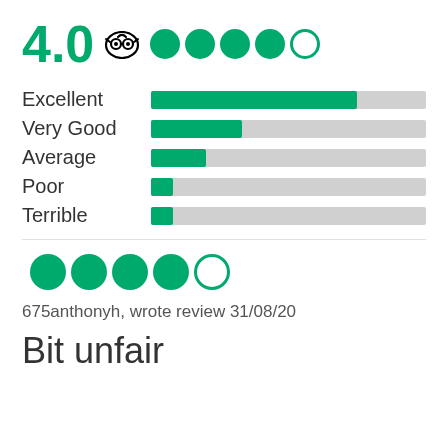[Figure (infographic): TripAdvisor rating 4.0 with owl logo and 5 circles (4 filled, 1 empty) representing the rating]
[Figure (bar-chart): Rating distribution]
[Figure (infographic): Review rating: 4 filled green circles and 1 empty circle]
675anthonyh, wrote review 31/08/20
Bit unfair